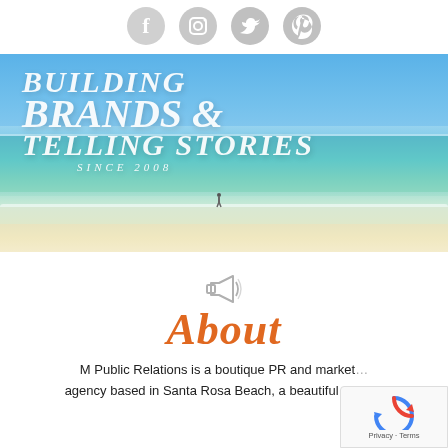[Figure (illustration): Row of four social media icons (Facebook, Instagram, Twitter, Pinterest) as grey circular buttons at top of page]
[Figure (photo): Beach scene banner image showing blue sky, turquoise ocean water, white sandy beach with a lone figure in the water. Overlaid with italic white serif text: BUILDING BRANDS & TELLING STORIES SINCE 2008]
[Figure (illustration): Small grey megaphone/bullhorn icon centered above the About heading]
About
M Public Relations is a boutique PR and marketing agency based in Santa Rosa Beach, a beautiful coastal